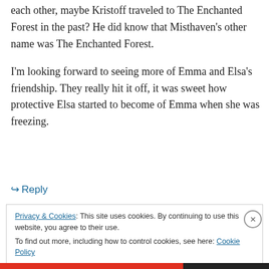each other, maybe Kristoff traveled to The Enchanted Forest in the past? He did know that Misthaven's other name was The Enchanted Forest.
I'm looking forward to seeing more of Emma and Elsa's friendship. They really hit it off, it was sweet how protective Elsa started to become of Emma when she was freezing.
↳ Reply
Privacy & Cookies: This site uses cookies. By continuing to use this website, you agree to their use.
To find out more, including how to control cookies, see here: Cookie Policy
Close and accept